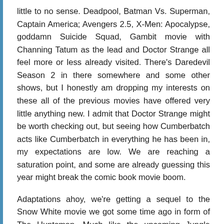little to no sense. Deadpool, Batman Vs. Superman, Captain America; Avengers 2.5, X-Men: Apocalypse, goddamn Suicide Squad, Gambit movie with Channing Tatum as the lead and Doctor Strange all feel more or less already visited. There's Daredevil Season 2 in there somewhere and some other shows, but I honestly am dropping my interests on these all of the previous movies have offered very little anything new. I admit that Doctor Strange might be worth checking out, but seeing how Cumberbatch acts like Cumberbatch in everything he has been in, my expectations are low. We are reaching a saturation point, and some are already guessing this year might break the comic book movie boom.
Adaptations ahoy, we're getting a sequel to the Snow White movie we got some time ago in form of The Huntsman. Much like the upcoming Jungle Book and Tarzan remakes/re-adaptations, nobody really asked for these. I'm sure the Snow White movie has its fans, but